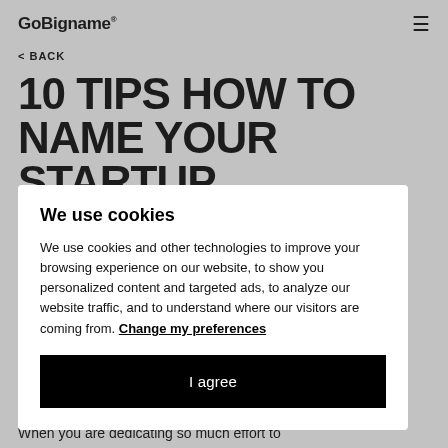GoBigname®
< BACK
10 TIPS HOW TO NAME YOUR STARTUP
We use cookies
We use cookies and other technologies to improve your browsing experience on our website, to show you personalized content and targeted ads, to analyze our website traffic, and to understand where our visitors are coming from. Change my preferences
I agree
When you are dedicating so much effort to